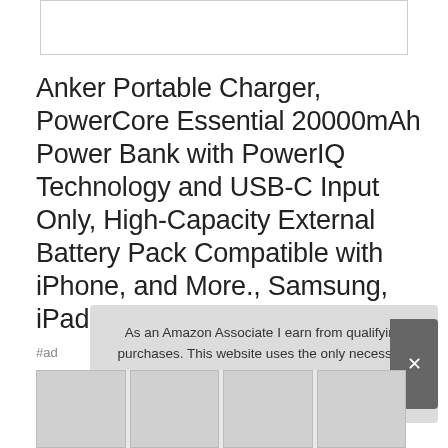[Figure (other): Product image placeholder (white box with border)]
Anker Portable Charger, PowerCore Essential 20000mAh Power Bank with PowerIQ Technology and USB-C Input Only, High-Capacity External Battery Pack Compatible with iPhone, and More., Samsung, iPad
#ad
As an Amazon Associate I earn from qualifying purchases. This website uses the only necessary cookies to ensure you get the best experience on our website. More information
[Figure (photo): Bottom row of product thumbnail images]